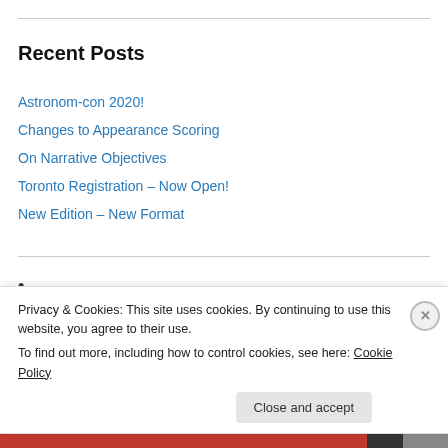Recent Posts
Astronom-con 2020!
Changes to Appearance Scoring
On Narrative Objectives
Toronto Registration – Now Open!
New Edition – New Format
•
Organizers
Privacy & Cookies: This site uses cookies. By continuing to use this website, you agree to their use.
To find out more, including how to control cookies, see here: Cookie Policy
Close and accept